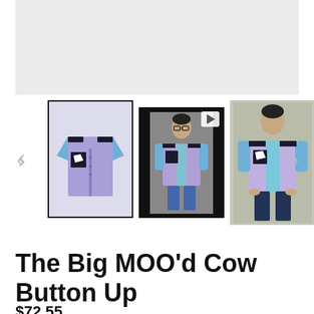[Figure (photo): Main product image area - large light gray placeholder for product photo of the Big MOO'd Cow Button Up shirt]
[Figure (photo): Three product thumbnail images: (1) flat lay of lavender/blue short-sleeve button-up shirt with black cow-print pocket, (2) video still of man wearing the shirt, (3) man wearing the shirt standing against gray background]
The Big MOO'd Cow Button Up
$72.55